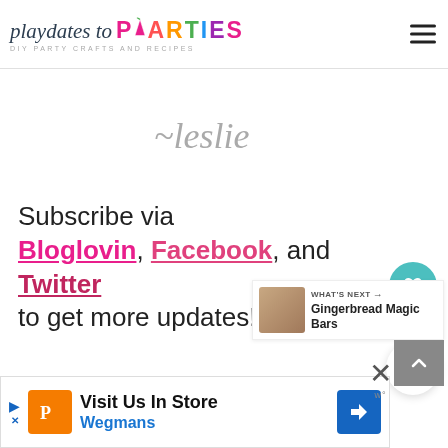playdates to PARTIES – DIY PARTY CRAFTS AND RECIPES
[Figure (illustration): Handwritten cursive signature reading '~Leslie' in light gray ink]
Subscribe via Bloglovin, Facebook, and Twitter to get more updates!
[Figure (infographic): Heart icon in teal circle (like button), count of 9, and share button widget on right side]
[Figure (infographic): What's Next panel showing thumbnail of Gingerbread Magic Bars with title text]
[Figure (screenshot): Advertisement banner: Visit Us In Store – Wegmans, with orange logo and blue navigation icon]